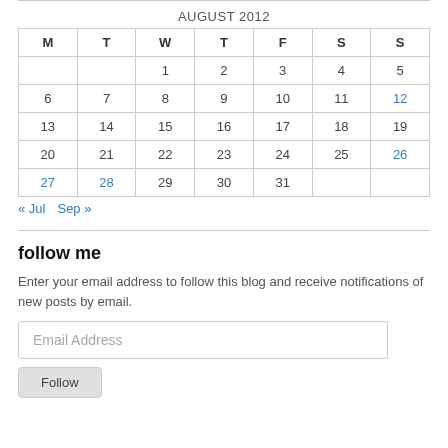| M | T | W | T | F | S | S |
| --- | --- | --- | --- | --- | --- | --- |
|  |  | 1 | 2 | 3 | 4 | 5 |
| 6 | 7 | 8 | 9 | 10 | 11 | 12 |
| 13 | 14 | 15 | 16 | 17 | 18 | 19 |
| 20 | 21 | 22 | 23 | 24 | 25 | 26 |
| 27 | 28 | 29 | 30 | 31 |  |  |
« Jul   Sep »
follow me
Enter your email address to follow this blog and receive notifications of new posts by email.
Email Address